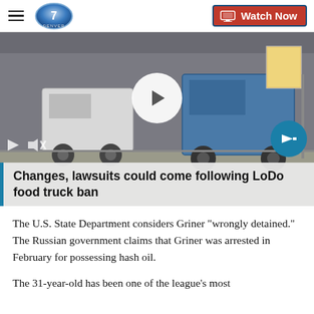Denver7 | Watch Now
[Figure (screenshot): Food trucks parked along a city street, with a video play button overlay. Bottom control bar shows play and mute icons. An arrow button appears bottom right. Caption overlay reads: Changes, lawsuits could come following LoDo food truck ban]
Changes, lawsuits could come following LoDo food truck ban
The U.S. State Department considers Griner “wrongly detained.” The Russian government claims that Griner was arrested in February for possessing hash oil.
The 31-year-old has been one of the league’s most